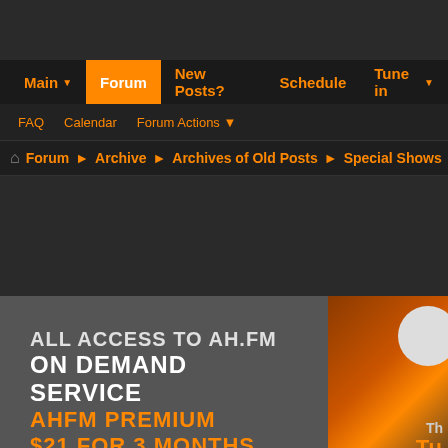Main | Forum | New Posts? | Schedule | Tune in
FAQ | Calendar | Forum Actions
Forum ► Archive ► Archives of Old Posts ► Special Shows ► Tra
[Figure (infographic): AH.FM banner: ALL ACCESS TO AH.FM ON DEMAND SERVICE AHFM PREMIUM $21 FOR 3 MONTHS with DJ imagery on right side]
Hello! appears you have not yet registered with our community. Please register which will enable you to post, access all available content, a
Re